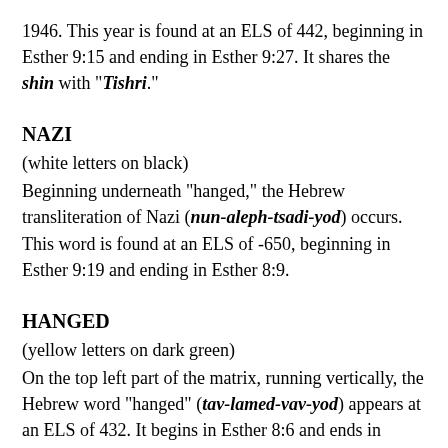1946. This year is found at an ELS of 442, beginning in Esther 9:15 and ending in Esther 9:27. It shares the shin with "Tishri."
NAZI
(white letters on black)
Beginning underneath "hanged," the Hebrew transliteration of Nazi (nun-aleph-tsadi-yod) occurs. This word is found at an ELS of -650, beginning in Esther 9:19 and ending in Esther 8:9.
HANGED
(yellow letters on dark green)
On the top left part of the matrix, running vertically, the Hebrew word "hanged" (tav-lamed-vav-yod) appears at an ELS of 432. It begins in Esther 8:6 and ends in Esther 9:3.